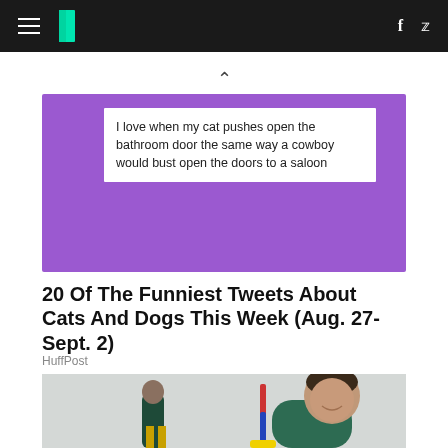HuffPost navigation with social icons (Facebook, Twitter)
I love when my cat pushes open the bathroom door the same way a cowboy would bust open the doors to a saloon
20 Of The Funniest Tweets About Cats And Dogs This Week (Aug. 27-Sept. 2)
HuffPost
[Figure (photo): A woman in dark green scrubs smiling and holding a mop with red and blue handle, with another person in dark uniform and yellow gloves in the background]